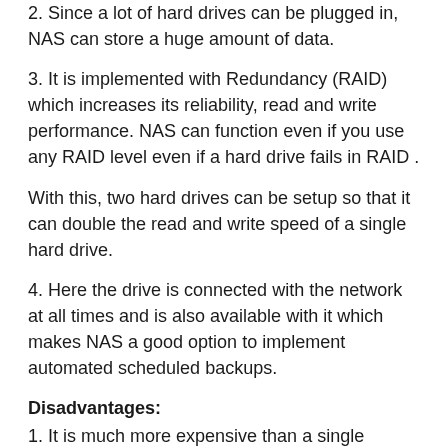2. Since a lot of hard drives can be plugged in, NAS can store a huge amount of data.
3. It is implemented with Redundancy (RAID) which increases its reliability, read and write performance. NAS can function even if you use any RAID level even if a hard drive fails in RAID .
With this, two hard drives can be setup so that it can double the read and write speed of a single hard drive.
4. Here the drive is connected with the network at all times and is also available with it which makes NAS a good option to implement automated scheduled backups.
Disadvantages:
1. It is much more expensive than a single External Hard Drives.
2. It is also not portable at all, so that it takes a lot of trouble